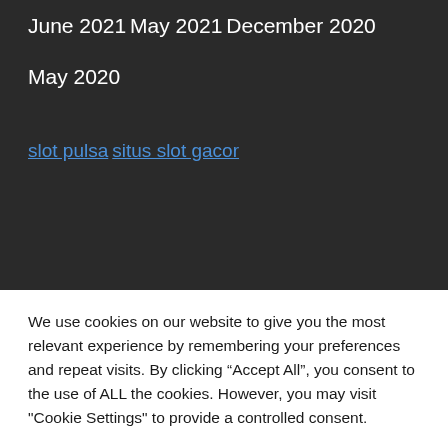June 2021
May 2021
December 2020
May 2020
slot pulsa
situs slot gacor
We use cookies on our website to give you the most relevant experience by remembering your preferences and repeat visits. By clicking “Accept All”, you consent to the use of ALL the cookies. However, you may visit "Cookie Settings" to provide a controlled consent.
Cookie Settings | Accept All